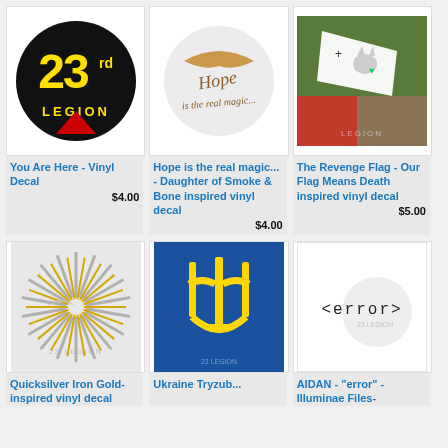[Figure (logo): 23rd Legion logo - black circle with yellow '23' and 'LEGION' text, red triangular arrow at bottom]
You Are Here - Vinyl Decal
$4.00
[Figure (illustration): Hope is the real magic... inspirational design with cursive text on light circular background]
Hope is the real magic... - Daughter of Smoke & Bone inspired vinyl decal
$4.00
[Figure (illustration): The Revenge Flag - white flag with cat and heart design on colorful background, LEGION watermark]
The Revenge Flag - Our Flag Means Death inspired vinyl decal
$5.00
[Figure (illustration): Quicksilver Iron Gold starburst design with silver/gold rays and watermark]
Quicksilver Iron Gold-inspired vinyl decal
[Figure (illustration): Ukrainian trident coat of arms in yellow on blue background]
Ukraine Tryzub...
[Figure (illustration): AIDAN error design - '<error>' text in monospace font on white background with watermark]
AIDAN - "error" - Illuminae Files-